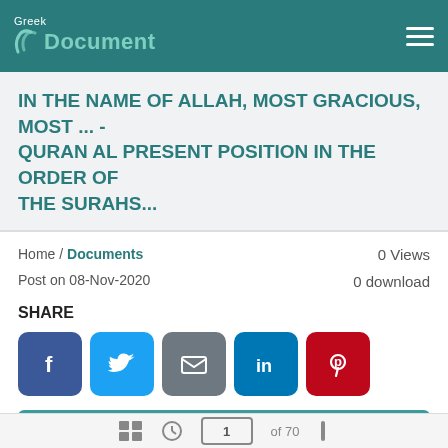Greek Document
IN THE NAME OF ALLAH, MOST GRACIOUS, MOST ... - QURAN AL PRESENT POSITION IN THE ORDER OF THE SURAHS...
Home / Documents
0 Views
Post on 08-Nov-2020
0 download
SHARE
[Figure (other): Social share buttons: Facebook, Twitter, Email, LinkedIn, Pinterest]
Download
Report this document